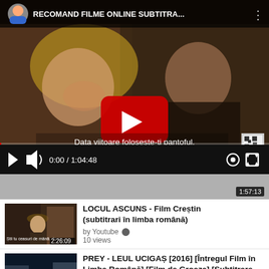[Figure (screenshot): YouTube video player showing a movie scene with a man and woman laughing, play button overlay, subtitle text 'Data viitoare folosește-ți pantoful.', channel header 'RECOMAND FILME ONLINE SUBTITRA...', video controls showing 0:00 / 1:04:48]
1:57:13
[Figure (screenshot): Thumbnail for LOCUL ASCUNS - Film Creștin movie, showing a man in a hat, duration 2:26:09]
LOCUL ASCUNS - Film Creștin (subtitrari în limba română)
by Youtube ✓
10 views
[Figure (screenshot): Thumbnail for PREY - LEUL UCIGAȘ film]
PREY - LEUL UCIGAȘ [2016] [Întregul Film în Limba Română] [Film de Groaza] [Subtitrare RO]